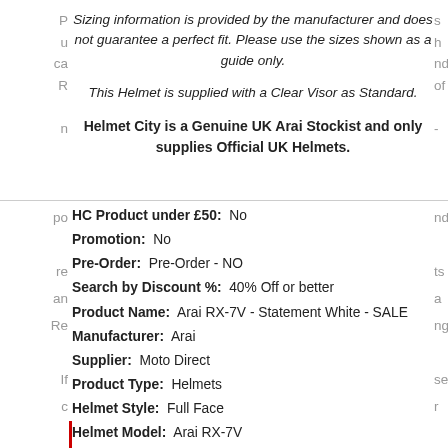Sizing information is provided by the manufacturer and does not guarantee a perfect fit. Please use the sizes shown as a guide only.
This Helmet is supplied with a Clear Visor as Standard.
Helmet City is a Genuine UK Arai Stockist and only supplies Official UK Helmets.
HC Product under £50:  No
Promotion:  No
Pre-Order:  Pre-Order - NO
Search by Discount %:  40% Off or better
Product Name:  Arai RX-7V - Statement White - SALE
Manufacturer:  Arai
Supplier:  Moto Direct
Product Type:  Helmets
Helmet Style:  Full Face
Helmet Model:  Arai RX-7V
Helmet Composition:  Multi-Composite